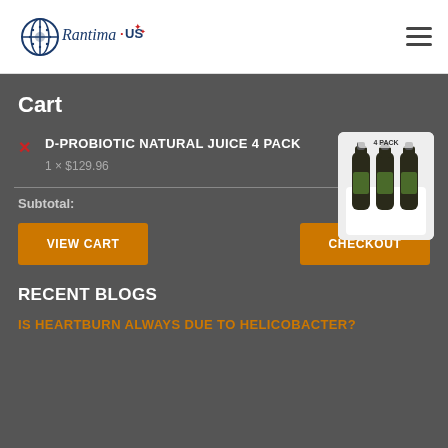[Figure (logo): Rantima.US logo with globe icon and decorative bird/leaf elements in blue, navy and red]
Cart
D-PROBIOTIC NATURAL JUICE 4 PACK
1 × $129.96
[Figure (photo): Product image: D-Probiotic Natural Juice 4 Pack showing 4 dark glass bottles in a white carrier]
Subtotal: $129.96
VIEW CART
CHECKOUT
RECENT BLOGS
IS HEARTBURN ALWAYS DUE TO HELICOBACTER?